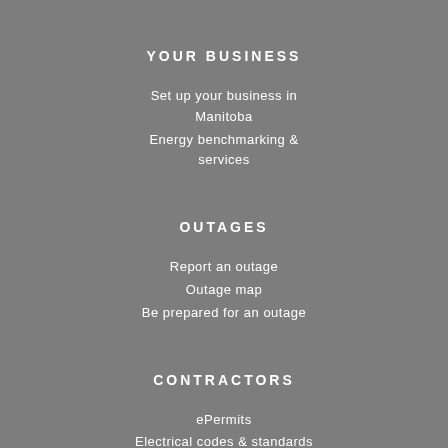YOUR BUSINESS
Set up your business in Manitoba
Energy benchmarking & services
OUTAGES
Report an outage
Outage map
Be prepared for an outage
CONTRACTORS
ePermits
Electrical codes & standards